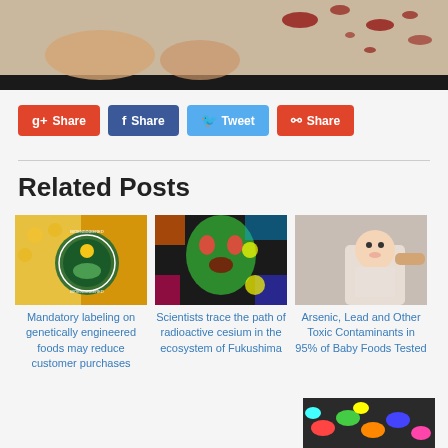[Figure (photo): Top portion of a bloody/dramatic image, partially visible at top of page]
[Figure (infographic): Social share buttons row: Google+ Share (red), Facebook Share (dark blue), Twitter Tweet (light blue), StumbleUpon Share (orange-red)]
Related Posts
[Figure (photo): Thumbnail of corn cobs with Bioengineered circular logo overlay]
Mandatory labeling on genetically engineered foods may reduce customer purchases
[Figure (photo): Thumbnail of colorful psychedelic image with a face]
Scientists trace the path of radioactive cesium in the ecosystem of Fukushima
[Figure (photo): Thumbnail of a baby in a high chair being fed]
Arsenic, Lead and Other Toxic Contaminants in 95% of Baby Foods Tested
[Figure (photo): Partial thumbnail of colorful candies or pills at bottom right]